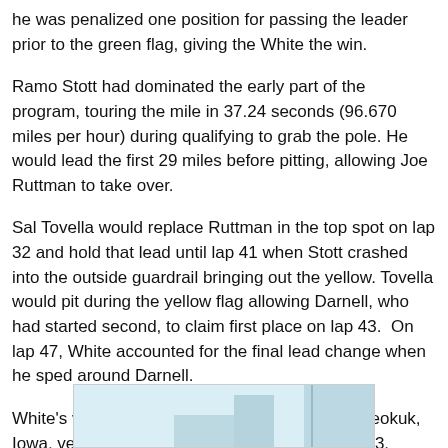he was penalized one position for passing the leader prior to the green flag, giving the White the win.
Ramo Stott had dominated the early part of the program, touring the mile in 37.24 seconds (96.670 miles per hour) during qualifying to grab the pole. He would lead the first 29 miles before pitting, allowing Joe Ruttman to take over.
Sal Tovella would replace Ruttman in the top spot on lap 32 and hold that lead until lap 41 when Stott crashed into the outside guardrail bringing out the yellow. Tovella would pit during the yellow flag allowing Darnell, who had started second, to claim first place on lap 43.  On lap 47, White accounted for the final lead change when he sped around Darnell.
White's victory was the first of the year for the Keokuk, Iowa, veteran and increased his career total to 53. Darnell was credited with second, ahead of Terry Ryan, Tom Bigelow (who started 21st) and Tovella.
[Figure (photo): Partial image visible at the bottom of the page, appears to be a racing-related photograph with light blue/grey tones.]